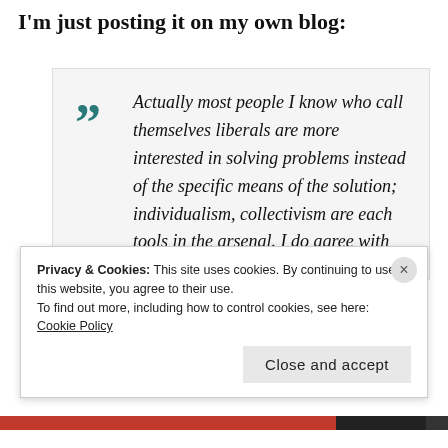I'm just posting it on my own blog:
Actually most people I know who call themselves liberals are more interested in solving problems instead of the specific means of the solution; individualism, collectivism are each tools in the arsenal. I do agree with you to watch out for people who implement solutions and abandon
Privacy & Cookies: This site uses cookies. By continuing to use this website, you agree to their use.
To find out more, including how to control cookies, see here: Cookie Policy
Close and accept